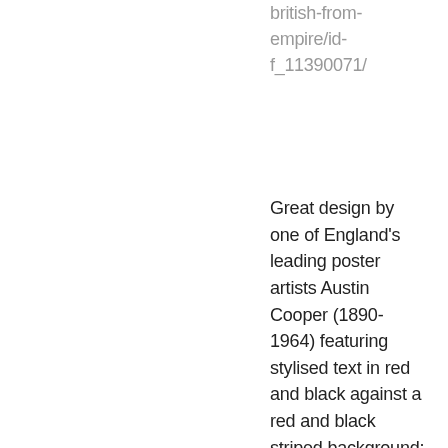british-from-empire/id-f_11390071/
Great design by one of England's leading poster artists Austin Cooper (1890-1964) featuring stylised text in red and black against a red and black striped background: Buyers are Builders Buy British from the Empire at Home or Overseas. The Empire Marketing Board (EMB 1926-1933) was formed to promote intra-Empire